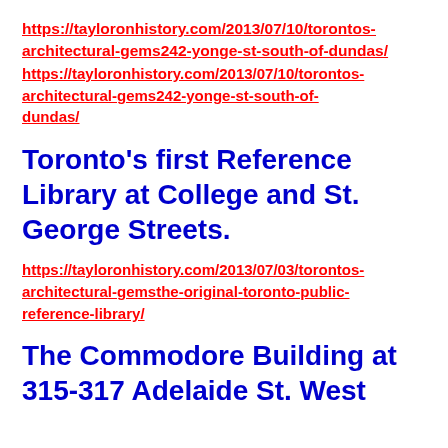https://tayloronhistory.com/2013/07/10/torontos-architectural-gems242-yonge-st-south-of-dundas/
Toronto's first Reference Library at College and St. George Streets.
https://tayloronhistory.com/2013/07/03/torontos-architectural-gemsthe-original-toronto-public-reference-library/
The Commodore Building at 315-317 Adelaide St. West